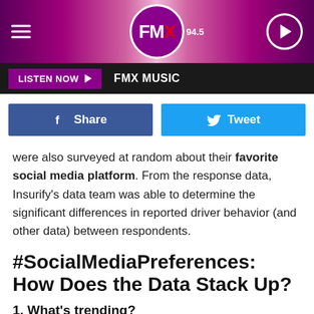FMX 94.5
LISTEN NOW  FMX MUSIC
[Figure (other): Facebook Share button and Twitter Tweet button row]
were also surveyed at random about their favorite social media platform. From the response data, Insurify's data team was able to determine the significant differences in reported driver behavior (and other data) between respondents.
#SocialMediaPreferences: How Does the Data Stack Up?
1. What's trending?
Here are the results of the survey, ranked by popularity